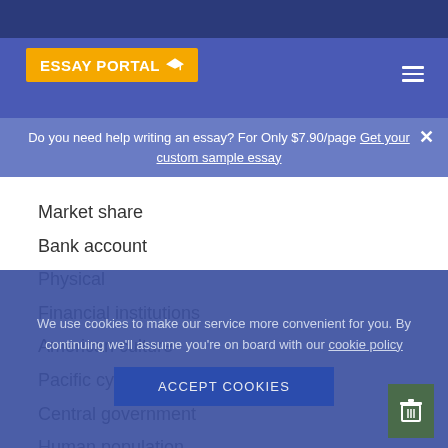ESSAY PORTAL
Do you need help writing an essay? For Only $7.90/page Get your custom sample essay
Market share
Bank account
Physical
Financial institutions
American culture
Pacific cycles
Central government
Human population
We use cookies to make our service more convenient for you. By continuing we'll assume you're on board with our cookie policy
Accept Cookies